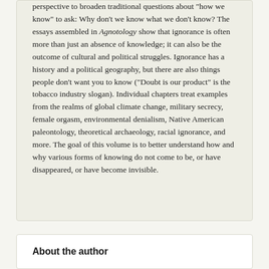perspective to broaden traditional questions about "how we know" to ask: Why don't we know what we don't know? The essays assembled in Agnotology show that ignorance is often more than just an absence of knowledge; it can also be the outcome of cultural and political struggles. Ignorance has a history and a political geography, but there are also things people don't want you to know ("Doubt is our product" is the tobacco industry slogan). Individual chapters treat examples from the realms of global climate change, military secrecy, female orgasm, environmental denialism, Native American paleontology, theoretical archaeology, racial ignorance, and more. The goal of this volume is to better understand how and why various forms of knowing do not come to be, or have disappeared, or have become invisible.
About the author